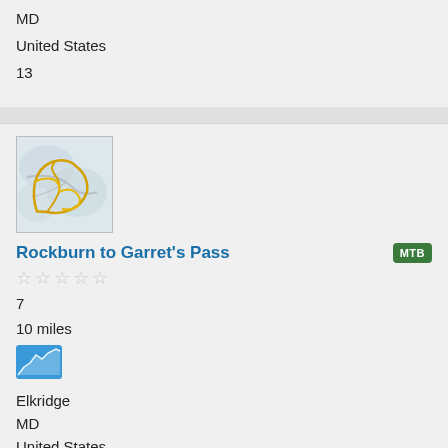MD
United States
13
[Figure (map): Trail map thumbnail showing a looping mountain bike trail route in yellow/orange on a topographic background]
Rockburn to Garret's Pass
★★★★★ (empty stars rating)
7
10 miles
[Figure (other): Small blue elevation profile thumbnail]
Elkridge
MD
United States